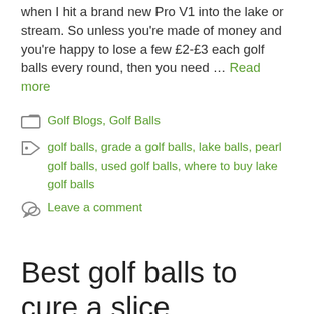when I hit a brand new Pro V1 into the lake or stream. So unless you're made of money and you're happy to lose a few £2-£3 each golf balls every round, then you need … Read more
Golf Blogs, Golf Balls
golf balls, grade a golf balls, lake balls, pearl golf balls, used golf balls, where to buy lake golf balls
Leave a comment
Best golf balls to cure a slice